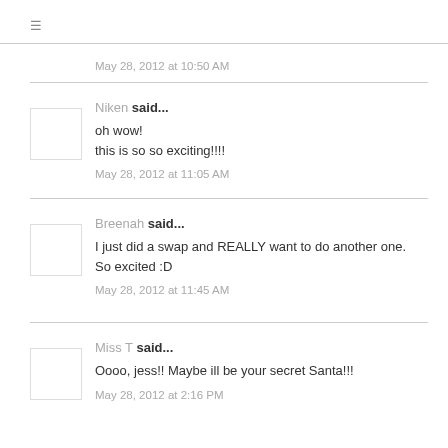≡
May 28, 2012 at 10:50 AM
Niken said...
oh wow!
this is so so exciting!!!!
May 28, 2012 at 11:05 AM
Breenah said...
I just did a swap and REALLY want to do another one.
So excited :D
May 28, 2012 at 11:45 AM
Miss T said...
Oooo, jess!! Maybe ill be your secret Santa!!!
May 28, 2012 at 2:16 PM